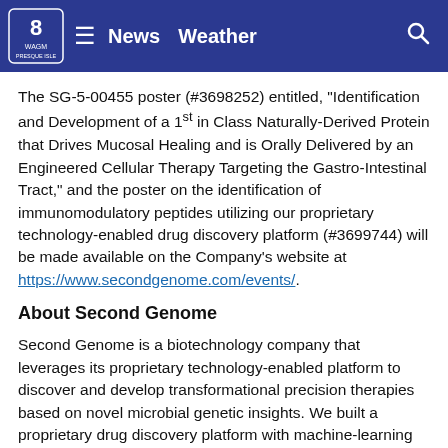News  Weather
The SG-5-00455 poster (#3698252) entitled, "Identification and Development of a 1st in Class Naturally-Derived Protein that Drives Mucosal Healing and is Orally Delivered by an Engineered Cellular Therapy Targeting the Gastro-Intestinal Tract," and the poster on the identification of immunomodulatory peptides utilizing our proprietary technology-enabled drug discovery platform (#3699744) will be made available on the Company's website at https://www.secondgenome.com/events/.
About Second Genome
Second Genome is a biotechnology company that leverages its proprietary technology-enabled platform to discover and develop transformational precision therapies based on novel microbial genetic insights. We built a proprietary drug discovery platform with machine-learning